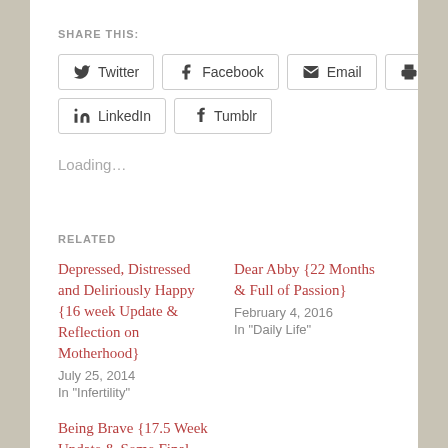SHARE THIS:
Twitter | Facebook | Email | Print | LinkedIn | Tumblr
Loading...
RELATED
Depressed, Distressed and Deliriously Happy {16 week Update & Reflection on Motherhood}
July 25, 2014
In "Infertility"
Dear Abby {22 Months & Full of Passion}
February 4, 2016
In "Daily Life"
Being Brave {17.5 Week Update & Some Final Words}